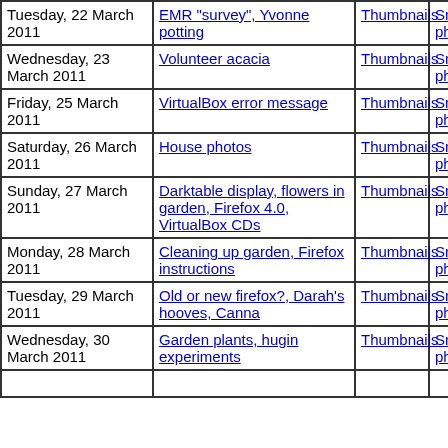| Date | Title | Thumbnails | Small photos | diary |
| --- | --- | --- | --- | --- |
| Tuesday, 22 March 2011 | EMR "survey", Yvonne potting | Thumbnails | Small photos | diary |
| Wednesday, 23 March 2011 | Volunteer acacia | Thumbnails | Small photos | diary |
| Friday, 25 March 2011 | VirtualBox error message | Thumbnails | Small photos | diary |
| Saturday, 26 March 2011 | House photos | Thumbnails | Small photos | diary |
| Sunday, 27 March 2011 | Darktable display, flowers in garden, Firefox 4.0, VirtualBox CDs | Thumbnails | Small photos | diary |
| Monday, 28 March 2011 | Cleaning up garden, Firefox instructions | Thumbnails | Small photos | diary |
| Tuesday, 29 March 2011 | Old or new firefox?, Darah's hooves, Canna | Thumbnails | Small photos | diary |
| Wednesday, 30 March 2011 | Garden plants, hugin experiments | Thumbnails | Small photos | diary |
| ... | ... |  |  |  |